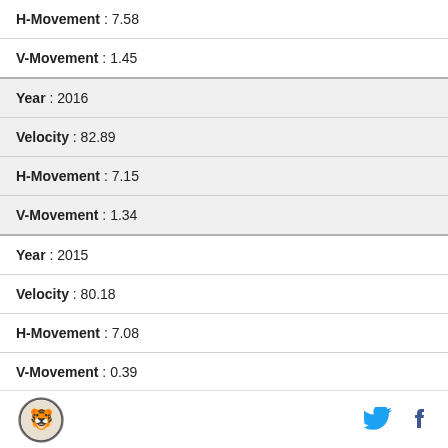| H-Movement : 7.58 |
| V-Movement : 1.45 |
| Year : 2016 |
| Velocity : 82.89 |
| H-Movement : 7.15 |
| V-Movement : 1.34 |
| Year : 2015 |
| Velocity : 80.18 |
| H-Movement : 7.08 |
| V-Movement : 0.39 |
| Year : 2014 |
Logo | Twitter | Facebook